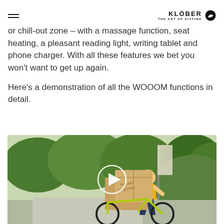KLÖBER THE ART OF SITTING
or chill-out zone – with a massage function, seat heating, a pleasant reading light, writing tablet and phone charger. With all these features we bet you won't want to get up again.

Here's a demonstration of all the WOOOM functions in detail.
[Figure (photo): Woman in yellow shirt on a cargo bicycle carrying large cardboard boxes labeled 'THE ART OF SITTING', outdoors with greenery and a building banner in the background. A circular play button overlay is centered on the image.]